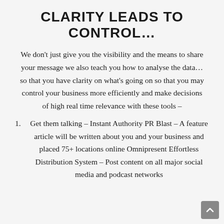CLARITY LEADS TO CONTROL…
We don't just give you the visibility and the means to share your message we also teach you how to analyse the data… so that you have clarity on what's going on so that you may control your business more efficiently and make decisions of high real time relevance with these tools –
Get them talking – Instant Authority PR Blast – A feature article will be written about you and your business and placed 75+ locations online Omnipresent Effortless Distribution System – Post content on all major social media and podcast networks